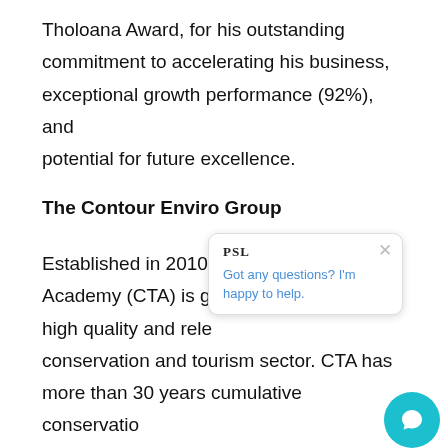Tholoana Award, for his outstanding commitment to accelerating his business, exceptional growth performance (92%), and potential for future excellence.
The Contour Enviro Group
Established in 2010, the Contour Training Academy (CTA) is g... high quality and rele... conservation and tourism sector. CTA has more than 30 years cumulative conservation experience – in both training and protected...